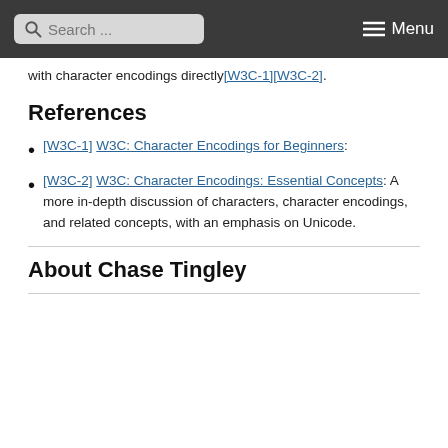Search ... Menu
with character encodings directly[W3C-1][W3C-2].
References
[W3C-1] W3C: Character Encodings for Beginners:
[W3C-2] W3C: Character Encodings: Essential Concepts: A more in-depth discussion of characters, character encodings, and related concepts, with an emphasis on Unicode.
About Chase Tingley